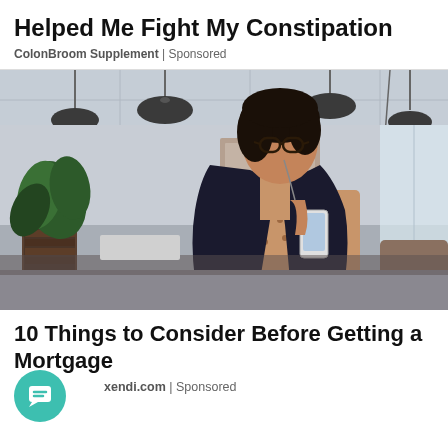Helped Me Fight My Constipation
ColonBroom Supplement | Sponsored
[Figure (photo): A woman with glasses wearing a dark blazer over a polka-dot dress, leaning forward and looking at her smartphone, in a modern office with pendant lights and a plant.]
10 Things to Consider Before Getting a Mortgage
xendi.com | Sponsored